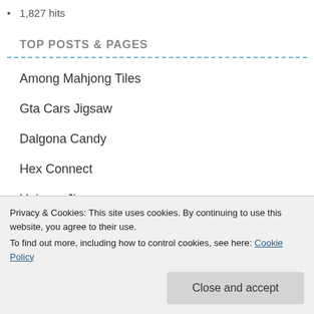1,827 hits
TOP POSTS & PAGES
Among Mahjong Tiles
Gta Cars Jigsaw
Dalgona Candy
Hex Connect
Unicorn Jigsaw
Privacy & Cookies: This site uses cookies. By continuing to use this website, you agree to their use.
To find out more, including how to control cookies, see here: Cookie Policy
Christmas Slide Puzzle